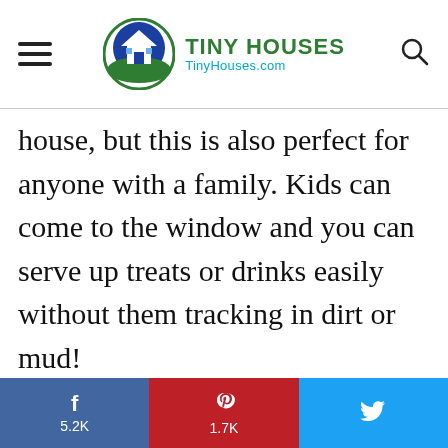TINY HOUSES TinyHouses.com
house, but this is also perfect for anyone with a family. Kids can come to the window and you can serve up treats or drinks easily without them tracking in dirt or mud!
f 5.2K | 1.7K | (Twitter bird icon)